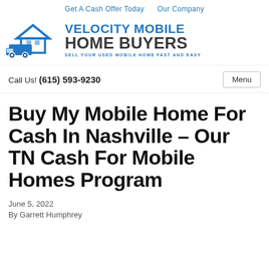Get A Cash Offer Today   Our Company
[Figure (logo): Velocity Mobile Home Buyers logo with mobile home truck icon and text: VELOCITY MOBILE HOME BUYERS - SELL YOUR USED MOBILE HOME FAST AND EASY]
Call Us! (615) 593-9230   Menu
Buy My Mobile Home For Cash In Nashville – Our TN Cash For Mobile Homes Program
June 5, 2022
By Garrett Humphrey